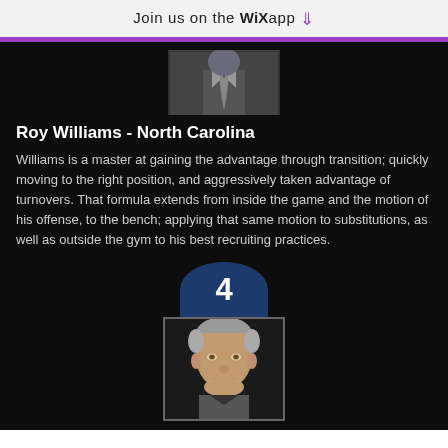Join us on the WiX app ↓
[Figure (photo): Partial coach photo at top of dark card]
Roy Williams - North Carolina
Williams is a master at gaining the advantage through transition; quickly moving to the right position, and aggressively taken advantage of turnovers. That formula extends from inside the game and the motion of his offense, to the bench; applying that same motion to substitutions, as well as outside the gym to his best recruiting practices.
[Figure (infographic): Ranking badge showing number 4 with dark blue semicircle above a photo of a basketball coach (older white male with grey/silver hair)]